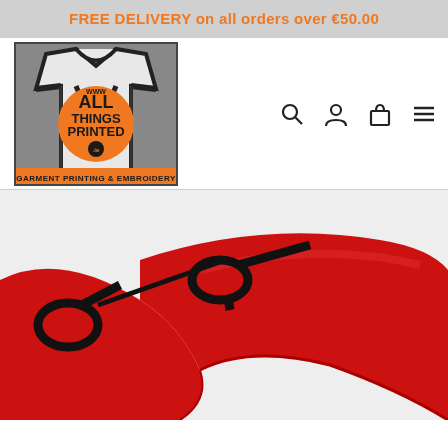FREE DELIVERY on all orders over €50.00
[Figure (logo): All Things Printed logo — orange circle with 'ALL THINGS PRINTED' text on a t-shirt graphic with 'GARMENT PRINTING & EMBROIDERY' text below]
[Figure (photo): Close-up photo of a red face mask with black adjustable ear loops/toggles on a light grey background]